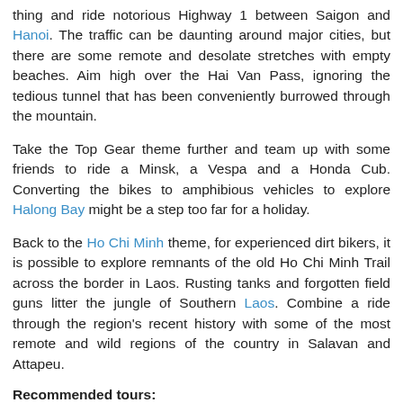thing and ride notorious Highway 1 between Saigon and Hanoi. The traffic can be daunting around major cities, but there are some remote and desolate stretches with empty beaches. Aim high over the Hai Van Pass, ignoring the tedious tunnel that has been conveniently burrowed through the mountain.
Take the Top Gear theme further and team up with some friends to ride a Minsk, a Vespa and a Honda Cub. Converting the bikes to amphibious vehicles to explore Halong Bay might be a step too far for a holiday.
Back to the Ho Chi Minh theme, for experienced dirt bikers, it is possible to explore remnants of the old Ho Chi Minh Trail across the border in Laos. Rusting tanks and forgotten field guns litter the jungle of Southern Laos. Combine a ride through the region's recent history with some of the most remote and wild regions of the country in Salavan and Attapeu.
Recommended tours: